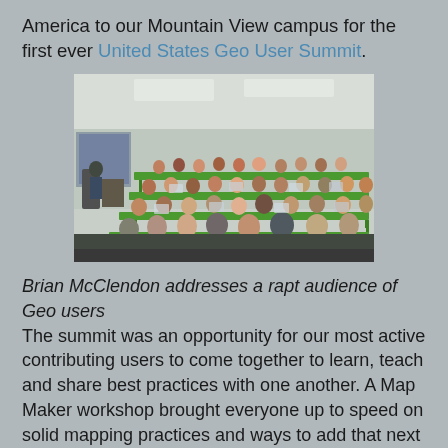America to our Mountain View campus for the first ever United States Geo User Summit.
[Figure (photo): A large conference room filled with attendees seated at long green tables, listening to a presenter at the front of the room. The room has modern lighting and the tables have green metal legs.]
Brian McClendon addresses a rapt audience of Geo users
The summit was an opportunity for our most active contributing users to come together to learn, teach and share best practices with one another. A Map Maker workshop brought everyone up to speed on solid mapping practices and ways to add that next level of comprehensiveness to the map. Google reviewers also made the trip to Mountain View, CA to connect directly with users and give them the inside